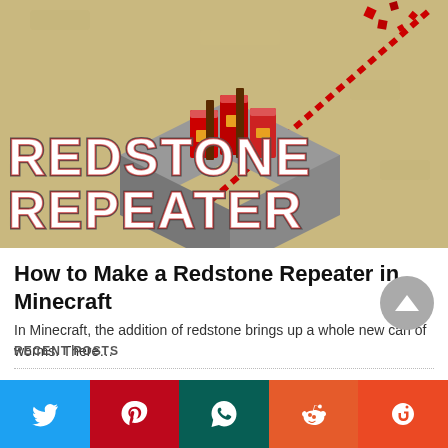[Figure (screenshot): Minecraft Redstone Repeater thumbnail image with large text 'REDSTONE REPEATER' overlaid on a sandy Minecraft scene with a redstone repeater block.]
How to Make a Redstone Repeater in Minecraft
In Minecraft, the addition of redstone brings up a whole new can of worms. There…
RECENT POSTS